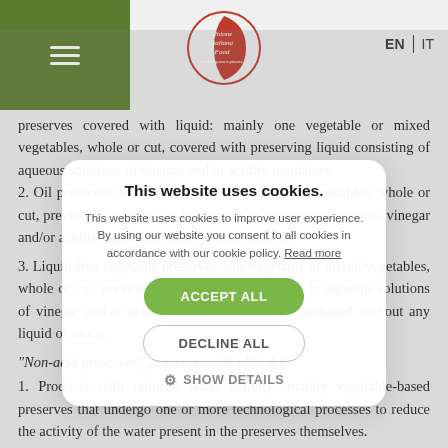Unione Italiana Food — EN | IT
preserves covered with liquid: mainly one vegetable or mixed vegetables, whole or cut, covered with preserving liquid consisting of aqueous solutions of vinegar and/or acidity regulators.
2. Oil preserves: mainly one vegetable or mixed vegetables, whole or cut, previously acidified by immersion in aqueous solutions of vinegar and/or acidity regulators, then covered with oil.
3. Liquid-free vegetable preserves: one vegetable or mixed vegetables, whole or cut, previously acidified by immersion in aqueous solutions of vinegar and/or acidity regulators, and then packaged without any liquid or sauce.
“Non-acid preserves”, preserves with pH> 4.6:
1. Products with reduced water activity: mainly vegetable-based preserves that undergo one or more technological processes to reduce the activity of the water present in the preserves themselves.
[Figure (other): Cookie consent modal overlay with title 'This website uses cookies', body text about cookie policy, ACCEPT ALL button, DECLINE ALL button, and SHOW DETAILS option.]